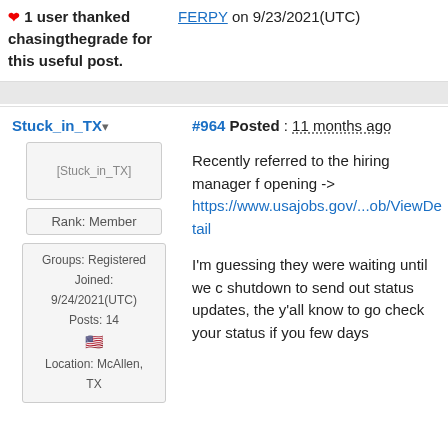❤ 1 user thanked chasingthegrade for this useful post.
FERPY on 9/23/2021(UTC)
Stuck_in_TX
#964 Posted : 11 months ago
[Figure (other): User avatar placeholder for Stuck_in_TX]
Rank: Member
Groups: Registered
Joined: 9/24/2021(UTC)
Posts: 14
🇺🇸
Location: McAllen, TX
Recently referred to the hiring manager f opening -> https://www.usajobs.gov/...ob/ViewDetail
I'm guessing they were waiting until we c shutdown to send out status updates, the y'all know to go check your status if you few days